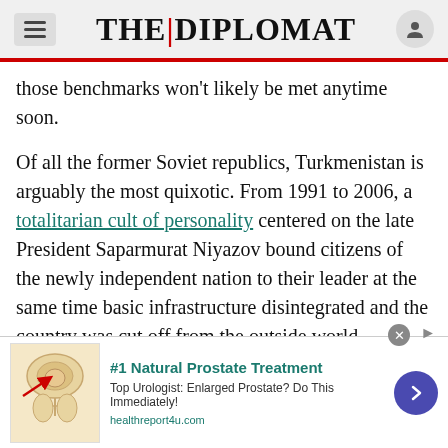THE DIPLOMAT
those benchmarks won't likely be met anytime soon.
Of all the former Soviet republics, Turkmenistan is arguably the most quixotic. From 1991 to 2006, a totalitarian cult of personality centered on the late President Saparmurat Niyazov bound citizens of the newly independent nation to their leader at the same time basic infrastructure disintegrated and the country was cut off from the outside world. Niyazov styled himself Turkmenbashi or "Great Leader of the Turkmen," and his book of philosophical musings and historical fiction, the Ruhnama, was held up to the Turkmen as important
[Figure (infographic): Advertisement banner: #1 Natural Prostate Treatment. Top Urologist: Enlarged Prostate? Do This Immediately! healthreport4u.com. Shows anatomical illustration and a blue circular arrow button.]